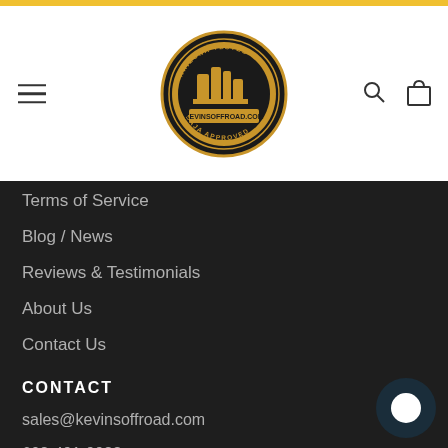[Figure (logo): KevinsOffRoad.com circular badge logo with gold and black design showing desert rock formations]
Terms of Service
Blog / News
Reviews & Testimonials
About Us
Contact Us
CONTACT
sales@kevinsoffroad.com
602-491-9933
21001 N Tatum Blvd, 1630-405
Phoenix Arizona